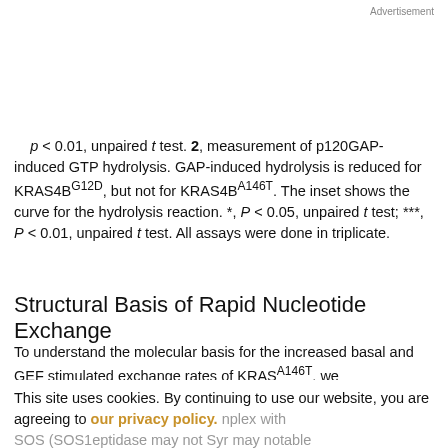Advertisement
p < 0.01, unpaired t test. 2, measurement of p120GAP-induced GTP hydrolysis. GAP-induced hydrolysis is reduced for KRAS4B^G12D, but not for KRAS4B^A146T. The inset shows the curve for the hydrolysis reaction. *, P < 0.05, unpaired t test; ***, P < 0.01, unpaired t test. All assays were done in triplicate.
Structural Basis of Rapid Nucleotide Exchange
To understand the molecular basis for the increased basal and GEF stimulated exchange rates of KRAS^A146T, we
This site uses cookies. By continuing to use our website, you are agreeing to our privacy policy. Accept